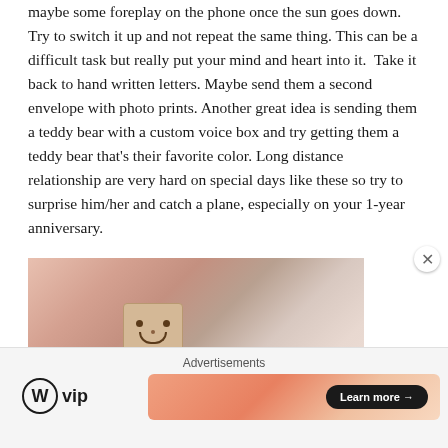maybe some foreplay on the phone once the sun goes down. Try to switch it up and not repeat the same thing. This can be a difficult task but really put your mind and heart into it. Take it back to hand written letters. Maybe send them a second envelope with photo prints. Another great idea is sending them a teddy bear with a custom voice box and try getting them a teddy bear that's their favorite color. Long distance relationship are very hard on special days like these so try to surprise him/her and catch a plane, especially on your 1-year anniversary.
[Figure (photo): A Danbo (cardboard box robot toy figure) partially visible in front of a window, with a warm blurred bokeh background in pink and orange tones.]
Advertisements
[Figure (logo): WordPress VIP logo with circular W icon and 'vip' text]
[Figure (screenshot): Advertisement banner with gradient orange/pink background and a 'Learn more →' button in dark pill shape]